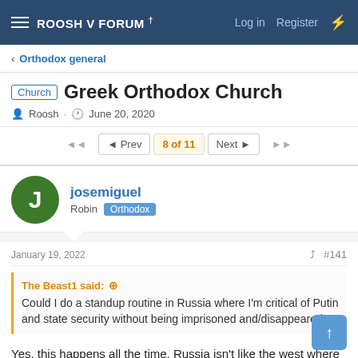ROOSH V FORUM † | Log in | Register
Orthodox general
Church Greek Orthodox Church
Roosh · June 20, 2020
◄◄  ◄ Prev  8 of 11  Next ►  ►►
josemiguel
Robin  Orthodox
January 19, 2022  #141
The Beast1 said: ↑
Could I do a standup routine in Russia where I'm critical of Putin and state security without being imprisoned and/disappeared?
Yes, this happens all the time. Russia isn't like the west where supporting traditional marriage gets you fired and unpersoned.